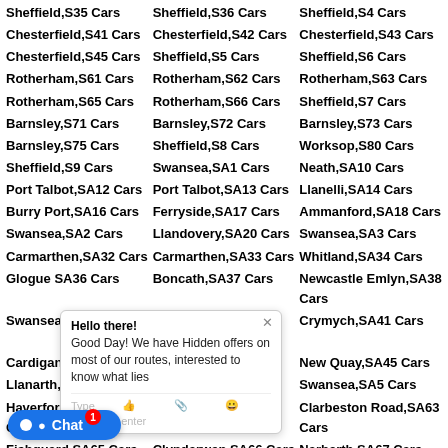Sheffield,S35 Cars | Sheffield,S36 Cars | Sheffield,S4 Cars
Chesterfield,S41 Cars | Chesterfield,S42 Cars | Chesterfield,S43 Cars
Chesterfield,S45 Cars | Sheffield,S5 Cars | Sheffield,S6 Cars
Rotherham,S61 Cars | Rotherham,S62 Cars | Rotherham,S63 Cars
Rotherham,S65 Cars | Rotherham,S66 Cars | Sheffield,S7 Cars
Barnsley,S71 Cars | Barnsley,S72 Cars | Barnsley,S73 Cars
Barnsley,S75 Cars | Sheffield,S8 Cars | Worksop,S80 Cars
Sheffield,S9 Cars | Swansea,SA1 Cars | Neath,SA10 Cars
Port Talbot,SA12 Cars | Port Talbot,SA13 Cars | Llanelli,SA14 Cars
Burry Port,SA16 Cars | Ferryside,SA17 Cars | Ammanford,SA18 Cars
Swansea,SA2 Cars | Llandovery,SA20 Cars | Swansea,SA3 Cars
Carmarthen,SA32 Cars | Carmarthen,SA33 Cars | Whitland,SA34 Cars
Glogue SA36 Cars | Boncath,SA37 Cars | Newcastle Emlyn,SA38 Cars
Swansea,SA39 Cars | Llanybydder,SA40 Cars | Crymych,SA41 Cars
Cardigan,SA43 Cars | Llandysul,SA44 Cars | New Quay,SA45 Cars
Llanarth,SA47 Cars | Lampeter,SA48 Cars | Swansea,SA5 Cars
Haverfordwest,SA61 Cars | Haverfordwest,SA62 Cars | Clarbeston Road,SA63 Cars
Fishguard,SA65 Cars | Clynderwen,SA66 Cars | Narberth,SA67 Cars
Saundersfoot,SA69 Cars | Swansea,SA7 Cars | Tenby,SA70 Cars